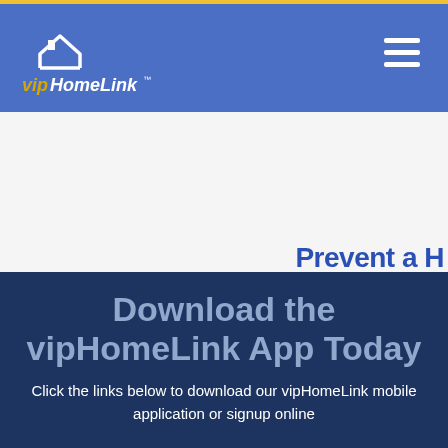[Figure (logo): vipHomeLink logo with house icon and company name in white and gold on blue background]
Prevent a H
Download the vipHomeLink App Today
Click the links below to download our vipHomeLink mobile application or signup online